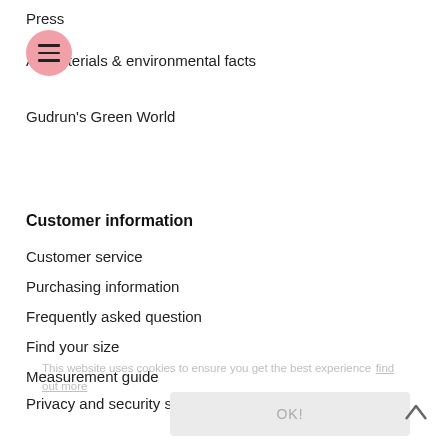Press
[Figure (illustration): Pink circular hamburger menu icon with three horizontal lines]
All materials & environmental facts
Gudrun's Green World
Customer information
Customer service
Purchasing information
Frequently asked question
Find your size
Measurement guide
Privacy and security statement
My account
Regarding coronavirus (COVID-19)
The season's colours
Become a club member
This website uses cookies to ensure you get the best experience find out more
OK!